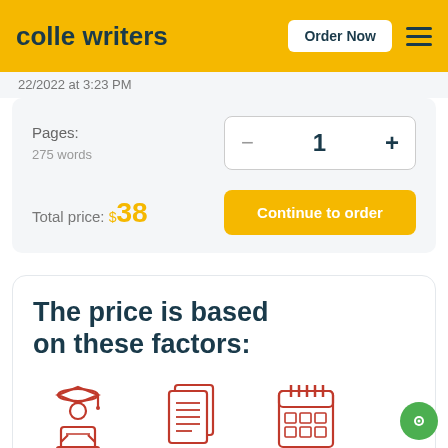colle writers | Order Now
22/2022 at 3:23 PM
Pages:
275 words
- 1 +
Total price: $38
Continue to order
The price is based on these factors:
[Figure (illustration): Three red line icons: a student with a graduation cap at a laptop, stacked documents/pages, and a calendar grid]